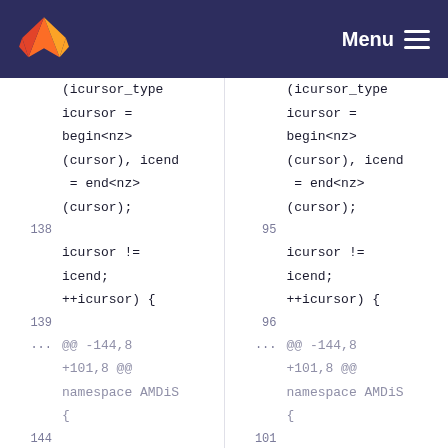[Figure (screenshot): GitLab navigation bar with logo and Menu icon on dark navy background]
(icursor_type icursor = begin<nz>(cursor), icend = end<nz>(cursor);
138    95
icursor != icend; ++icursor) {
139    96
...  @@ -144,8 +101,8 @@ namespace AMDiS {
144    101
145    102    if (!periodicCol) {
146    103    //